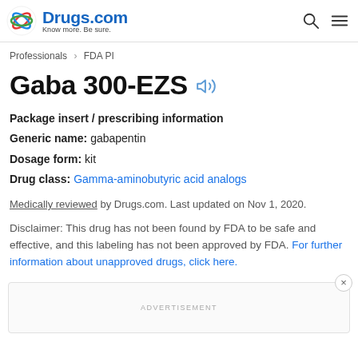Drugs.com – Know more. Be sure.
Professionals > FDA PI
Gaba 300-EZS
Package insert / prescribing information
Generic name: gabapentin
Dosage form: kit
Drug class: Gamma-aminobutyric acid analogs
Medically reviewed by Drugs.com. Last updated on Nov 1, 2020.
Disclaimer: This drug has not been found by FDA to be safe and effective, and this labeling has not been approved by FDA. For further information about unapproved drugs, click here.